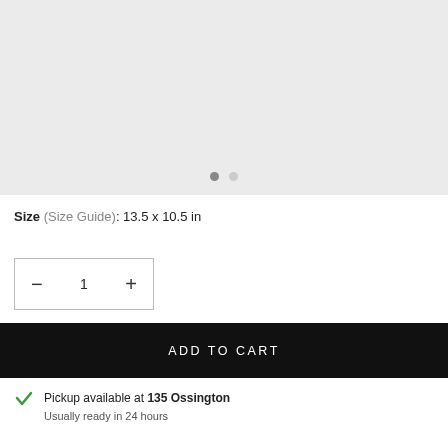Navigation header with hamburger menu, logo, search icon, and cart (0)
[Figure (other): Product image area with light gray background and two pagination dots below]
Size (Size Guide): 13.5 x 10.5 in
Quantity selector: − 1 +
ADD TO CART
Pickup available at 135 Ossington
Usually ready in 24 hours